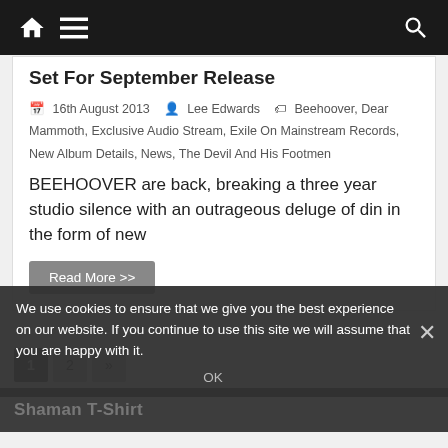Navigation bar with home, menu, and search icons
Set For September Release
16th August 2013  Lee Edwards  Beehoover, Dear Mammoth, Exclusive Audio Stream, Exile On Mainstream Records, New Album Details, News, The Devil And His Footmen
BEEHOOVER are back, breaking a three year studio silence with an outrageous deluge of din in the form of new
Read More >>
1
2
»
Shaman T-Shirt
We use cookies to ensure that we give you the best experience on our website. If you continue to use this site we will assume that you are happy with it.
OK